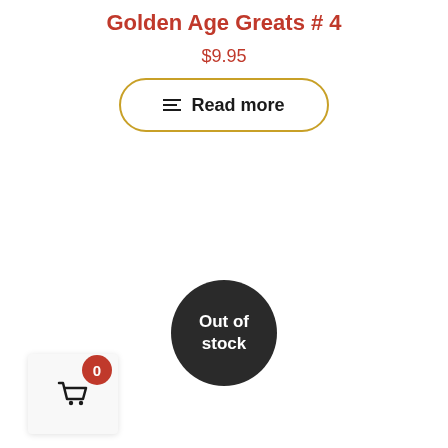Golden Age Greats # 4
$9.95
Read more
Out of stock
0